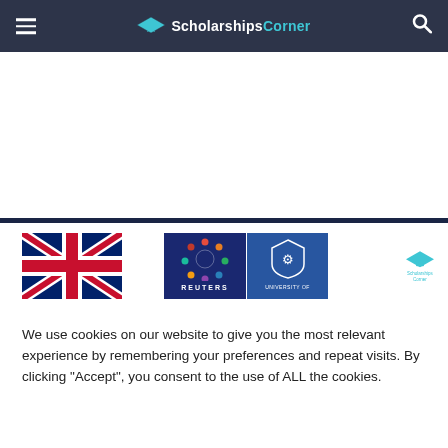Scholarships Corner
[Figure (screenshot): Website screenshot showing a white content area (advertisement space), a dark navy divider bar, and a partial image strip with a UK flag, Reuters logo box, a University logo box in blue, and a small Scholarships Corner logo on the right]
We use cookies on our website to give you the most relevant experience by remembering your preferences and repeat visits. By clicking “Accept”, you consent to the use of ALL the cookies.